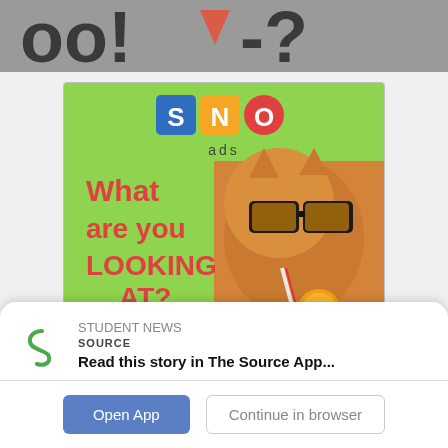[Figure (illustration): Top banner showing partial stylized text/logo in black on gray background]
[Figure (infographic): SNO ads advertisement banner. Green background with SNO logo (S in blue square, N in orange square, O in red circle), text 'ads' below. Red text reads 'What are you LOOKING AT?' on left. Right side shows a ginger cat wearing sunglasses drinking from a straw with orange fruit. Orange button at bottom reads 'ADVERTISE HERE']
Read this story in The Source App...
Open App
Continue in browser